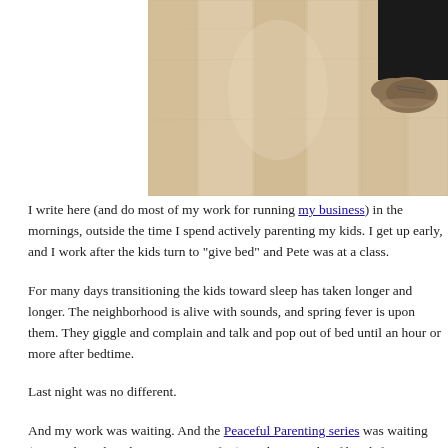[Figure (photo): Overhead/bird's-eye view of a light wood laminate floor with a person standing at upper right wearing black pants and tan/brown leather shoes]
I write here (and do most of my work for running my business) in the mornings, outside the time I spend actively parenting my kids. I get up early, and I work after the kids turn to "give bed" and Pete was at a class.
For many days transitioning the kids toward sleep has taken longer and longer. The neighborhood is alive with sounds, and spring fever is upon them. They giggle and complain and talk and pop out of bed until an hour or more after bedtime.
Last night was no different.
And my work was waiting. And the Peaceful Parenting series was waiting (you know, week, and Friday was coming fast). And my one brief break from parenting...